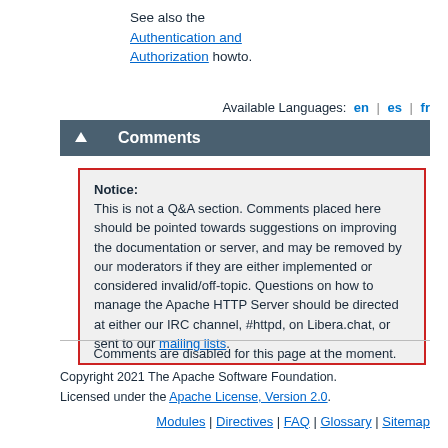See also the Authentication and Authorization howto.
Available Languages: en | es | fr
Comments
Notice: This is not a Q&A section. Comments placed here should be pointed towards suggestions on improving the documentation or server, and may be removed by our moderators if they are either implemented or considered invalid/off-topic. Questions on how to manage the Apache HTTP Server should be directed at either our IRC channel, #httpd, on Libera.chat, or sent to our mailing lists.
Comments are disabled for this page at the moment.
Copyright 2021 The Apache Software Foundation. Licensed under the Apache License, Version 2.0.
Modules | Directives | FAQ | Glossary | Sitemap